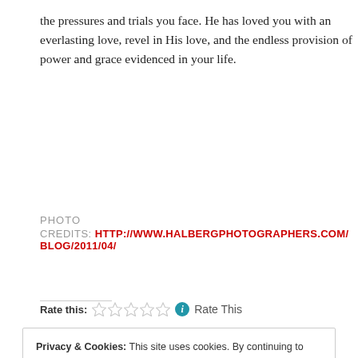the pressures and trials you face. He has loved you with an everlasting love, revel in His love, and the endless provision of power and grace evidenced in your life.
PHOTO CREDITS: HTTP://WWW.HALBERGPHOTOGRAPHERS.COM/BLOG/2011/04/
Rate this: ☆☆☆☆☆ Rate This
Privacy & Cookies: This site uses cookies. By continuing to use this website, you agree to their use. To find out more, including how to control cookies, see here: Cookie Policy